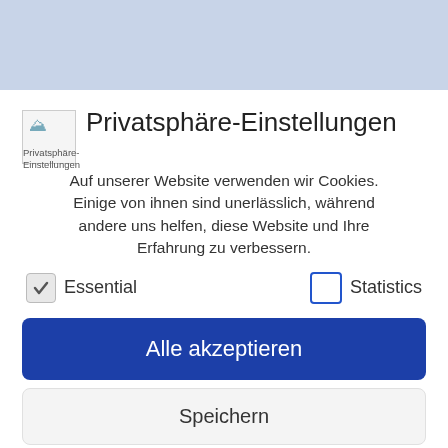Privatsphäre-Einstellungen
Auf unserer Website verwenden wir Cookies. Einige von ihnen sind unerlässlich, während andere uns helfen, diese Website und Ihre Erfahrung zu verbessern.
Essential   Statistics
Alle akzeptieren
Speichern
Nur essentielle Cookies akzeptieren
Individuelle Cookie-Einstellungen
Cookie Details | Datenschutzerklärung | Impressum